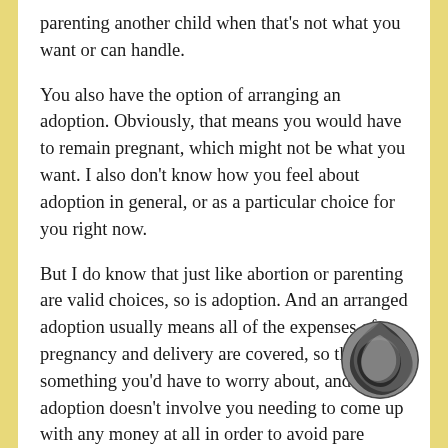parenting another child when that's not what you want or can handle.
You also have the option of arranging an adoption. Obviously, that means you would have to remain pregnant, which might not be what you want. I also don't know how you feel about adoption in general, or as a particular choice for you right now.
But I do know that just like abortion or parenting are valid choices, so is adoption. And an arranged adoption usually means all of the expenses of a pregnancy and delivery are covered, so that's not something you'd have to worry about, and adoption doesn't involve you needing to come up with any money at all in order to avoid parenting another child. On top of that, it can potentially mean you get some extra help and support during
[Figure (logo): Circular logo with swirling dark grey and light grey pattern]